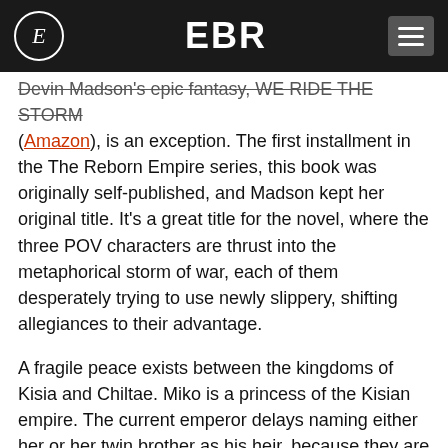EBR
Devin Madson's epic fantasy, WE RIDE THE STORM (Amazon), is an exception. The first installment in the The Reborn Empire series, this book was originally self-published, and Madson kept her original title. It’s a great title for the novel, where the three POV characters are thrust into the metaphorical storm of war, each of them desperately trying to use newly slippery, shifting allegiances to their advantage.
A fragile peace exists between the kingdoms of Kisia and Chiltae. Miko is a princess of the Kisian empire. The current emperor delays naming either her or her twin brother as his heir, because they are not his true children. Determined not be overlooked or discounted, Miko plays courtly games of intrigue to gain the throne, but her brother takes matters into his own hands. He attempts to kill Dom Villius, the Chiltaen